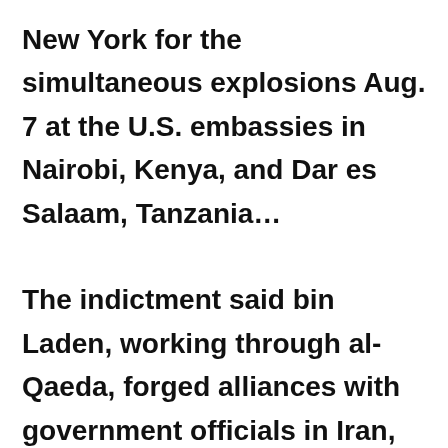New York for the simultaneous explosions Aug. 7 at the U.S. embassies in Nairobi, Kenya, and Dar es Salaam, Tanzania… The indictment said bin Laden, working through al-Qaeda, forged alliances with government officials in Iran, the National Islamic Front in the Sudan and an Iranian terrorist organization known as